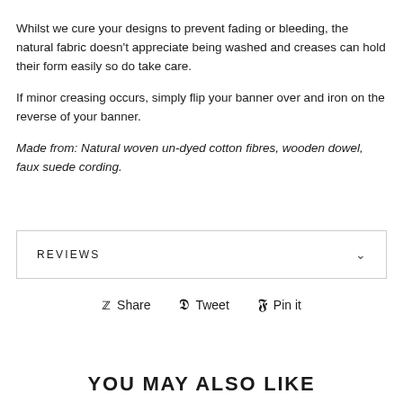Whilst we cure your designs to prevent fading or bleeding, the natural fabric doesn't appreciate being washed and creases can hold their form easily so do take care.

If minor creasing occurs, simply flip your banner over and iron on the reverse of your banner.

Made from: Natural woven un-dyed cotton fibres, wooden dowel, faux suede cording.
REVIEWS
Share  Tweet  Pin it
YOU MAY ALSO LIKE